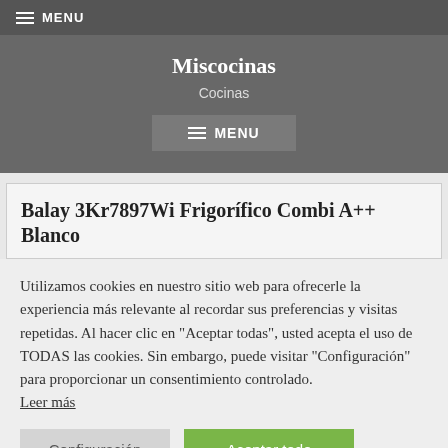MENU
Miscocinas
Cocinas
MENU
Balay 3Kr7897Wi Frigorífico Combi A++ Blanco
Utilizamos cookies en nuestro sitio web para ofrecerle la experiencia más relevante al recordar sus preferencias y visitas repetidas. Al hacer clic en "Aceptar todas", usted acepta el uso de TODAS las cookies. Sin embargo, puede visitar "Configuración" para proporcionar un consentimiento controlado. Leer más
Configuración
Aceptar todo